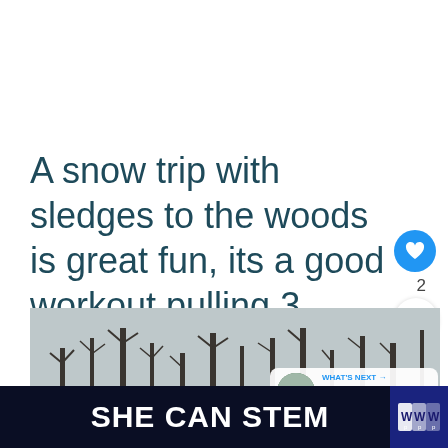A snow trip with sledges to the woods is great fun, its a good workout pulling 3 children on a sledge and having a fourth on your shoulders.
[Figure (photo): Winter woodland scene with bare trees and a snow-covered path, overcast sky]
WHAT'S NEXT → Climbing Snowdon wi...
SHE CAN STEM